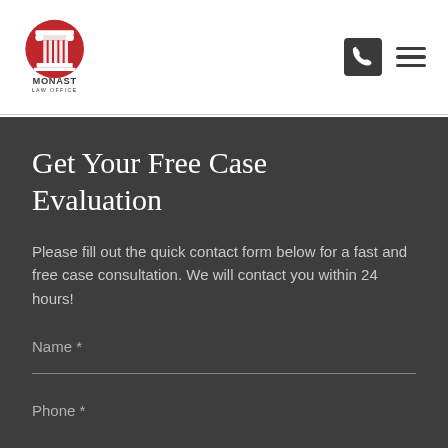[Figure (logo): Monast Law Office logo with red circle and column icon, text MONAST LAW OFFICE]
Get Your Free Case Evaluation
Please fill out the quick contact form below for a fast and free case consultation. We will contact you within 24 hours!
Name *
Phone *